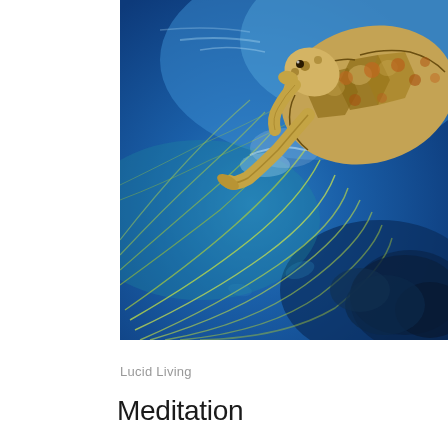[Figure (illustration): A colorful painting of a sea turtle swimming underwater. The turtle is depicted from above-right angle, with a detailed brown and orange patterned shell and head. Beneath the turtle are sweeping curved lines in yellow-green suggesting movement through deep blue ocean water, with darker teal coral or rock formations visible at the bottom right.]
Lucid Living
Meditation